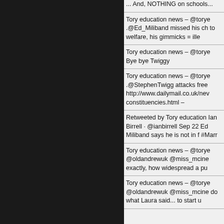[Figure (photo): Dark/black left panel, approximately half the page width]
... And, NOTHING on schools...
Tory education news – @torye .@Ed_Miliband missed his ch to welfare, his gimmicks = ille
Tory education news – @torye Bye bye Twiggy
Tory education news – @torye .@StephenTwigg attacks free http://www.dailymail.co.uk/new constituencies.html –
Retweeted by Tory education Ian Birrell · @ianbirrell Sep 22 Ed Miliband says he is not in f #Marr
Tory education news – @torye @oldandrewuk @miss_mcine exactly, how widespread a pu
Tory education news – @torye @oldandrewuk @miss_mcine do what Laura said... to start u